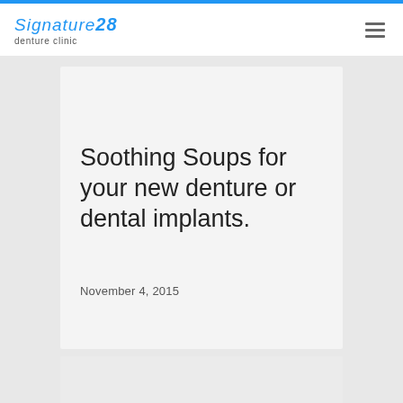Signature28 denture clinic
Soothing Soups for your new denture or dental implants.
November 4, 2015